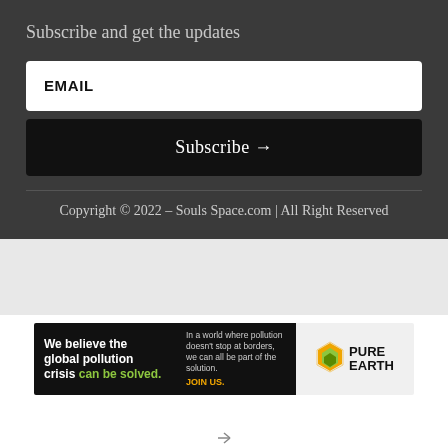Subscribe and get the updates
EMAIL
Subscribe →
Copyright © 2022 – Souls Space.com | All Right Reserved
[Figure (illustration): Pure Earth advertisement banner: black left panel with text 'We believe the global pollution crisis can be solved.' in white and green, plus right-side text 'In a world where pollution doesn't stop at borders, we can all be part of the solution. JOIN US.' and logo panel with orange/yellow diamond shield logo and 'PURE EARTH' text in bold.]